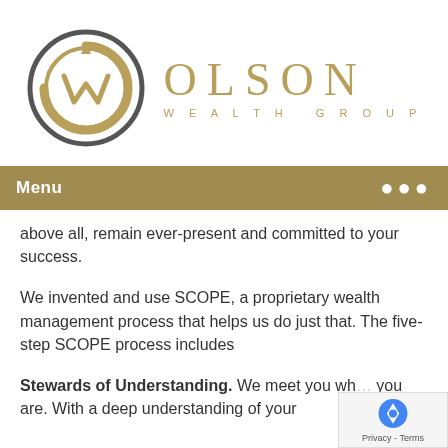[Figure (logo): Olson Wealth Group logo with circular OW monogram in gold/gray and OLSON WEALTH GROUP text in gold]
Menu
above all, remain ever-present and committed to your success.
We invented and use SCOPE, a proprietary wealth management process that helps us do just that. The five-step SCOPE process includes
Stewards of Understanding. We meet you where you are. With a deep understanding of your